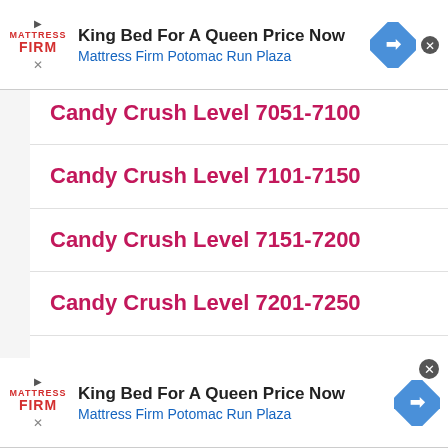[Figure (screenshot): Top advertisement banner for Mattress Firm Potomac Run Plaza with headline 'King Bed For A Queen Price Now']
Candy Crush Level 7051-7100
Candy Crush Level 7101-7150
Candy Crush Level 7151-7200
Candy Crush Level 7201-7250
Candy Crush Level 7251-7300
Candy Crush Level 7301-7350
[Figure (screenshot): Bottom advertisement banner for Mattress Firm Potomac Run Plaza with headline 'King Bed For A Queen Price Now']